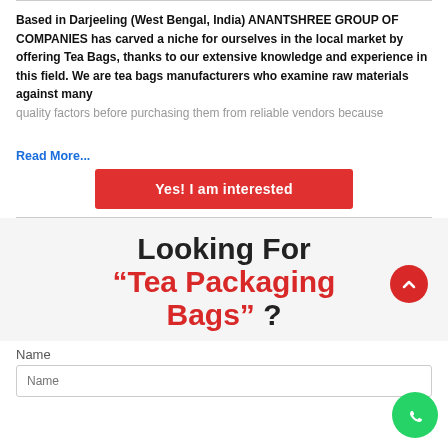Based in Darjeeling (West Bengal, India) ANANTSHREE GROUP OF COMPANIES has carved a niche for ourselves in the local market by offering Tea Bags, thanks to our extensive knowledge and experience in this field. We are tea bags manufacturers who examine raw materials against many quality factors before purchasing them from reliable vendors because
Read More...
Yes! I am interested
Looking For "Tea Packaging Bags" ?
Name